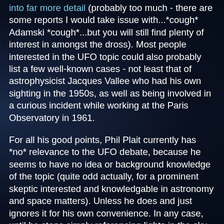into far more detail (probably too much - there are some reports I would take issue with...*cough* Adamski *cough*...but you will still find plenty of interest in amongst the dross). Most people interested in the UFO topic could also probably list a few well-known cases - not least that of astrophysicist Jacques Vallee who had his own sighting in the 1950s, as well as being involved in a curious incident while working at the Paris Observatory in 1961.
For all his good points, Phil Plait currently has *no* relevance to the UFO debate, because he seems to have no idea or background knowledge of the topic (quite odd actually, for a prominent skeptic interested and knowledgable in astronomy and space matters). Unless he does and just ignores it for his own convenience. In any case, until he stops simply referencing lights in the sky which might or might not be Venus/swamp gas, and goes further into the more detailed sightings and encounters (including high strangeness reports and effects such as electrical interference), his arguments hold no weight. And as I've said, that's not to say that